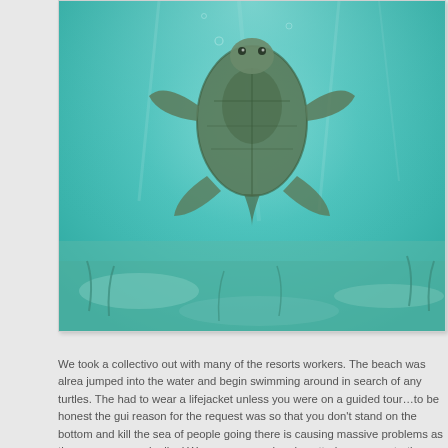[Figure (photo): Underwater photo of a sea turtle swimming above a sandy/grassy sea floor in turquoise water, viewed from below/side angle.]
We took a collectivo out with many of the resorts workers. The beach was already jumped into the water and begin swimming around in search of any turtles. The had to wear a lifejacket unless you were on a guided tour...to be honest the gui reason for the request was so that you don't stand on the bottom and kill the sea of people going there is causing massive problems as the sea grass gradually d We swam around and spotted numerous turtles eating the lettuce on the sea flo as it is killed when people stand on it (hence the reason for lifejackets on every are killing the habitat of the actual thing you came to see! Sadly I don't know for turtles around. It needs a major conservation effort to stop the issues that are oc
[Figure (photo): Photo of a blue sky with white clouds, possibly taken from a beach or boat, partially visible at the bottom of the page.]